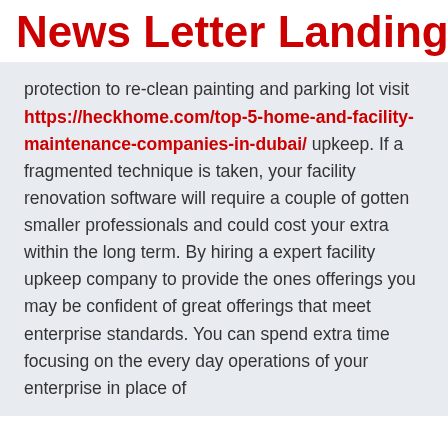News Letter Landing Pag
protection to re-clean painting and parking lot visit https://heckhome.com/top-5-home-and-facility-maintenance-companies-in-dubai/ upkeep. If a fragmented technique is taken, your facility renovation software will require a couple of gotten smaller professionals and could cost your extra within the long term. By hiring a expert facility upkeep company to provide the ones offerings you may be confident of great offerings that meet enterprise standards. You can spend extra time focusing on the every day operations of your enterprise in place of